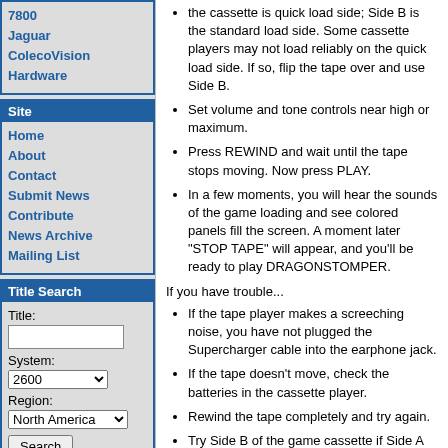7800
Jaguar
ColecoVision
Hardware
Site
Home
About
Contact
Submit News
Contribute
News Archive
Mailing List
Title Search
Title: [text input] System: 2600 [dropdown] Region: North America [dropdown] Search [button]
the cassette is quick load side; Side B is the standard load side. Some cassette players may not load reliably on the quick load side. If so, flip the tape over and use Side B.
Set volume and tone controls near high or maximum.
Press REWIND and wait until the tape stops moving. Now press PLAY.
In a few moments, you will hear the sounds of the game loading and see colored panels fill the screen. A moment later "STOP TAPE" will appear, and you'll be ready to play DRAGONSTOMPER.
If you have trouble...
If the tape player makes a screeching noise, you have not plugged the Supercharger cable into the earphone jack.
If the tape doesn't move, check the batteries in the cassette player.
Rewind the tape completely and try again.
Try Side B of the game cassette if Side A won't load properly. Set